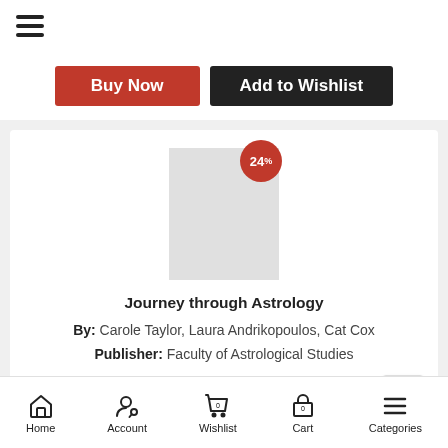[Figure (screenshot): Hamburger menu icon (three horizontal lines)]
[Figure (screenshot): Buy Now button (red) and Add to Wishlist button (black)]
[Figure (screenshot): Product image placeholder (grey rectangle) with 24% discount badge (red circle)]
Journey through Astrology
By: Carole Taylor, Laura Andrikopoulos, Cat Cox
Publisher: Faculty of Astrological Studies
Rs.1,470
Rs.1,117
[Figure (screenshot): Bottom navigation bar with Home, Account, Wishlist (0), Cart (0), Categories icons]